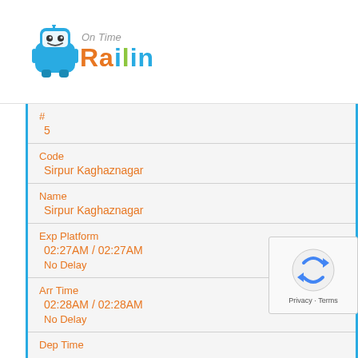[Figure (logo): Railin app logo with robot mascot and colorful 'Railin' text with 'On Time' subtitle]
| # | 5 |
| Code | Sirpur Kaghaznagar |
| Name | Sirpur Kaghaznagar |
| Exp Platform | 02:27AM / 02:27AM
No Delay |
| Arr Time | 02:28AM / 02:28AM
No Delay |
| Dep Time | - |
| # |  |